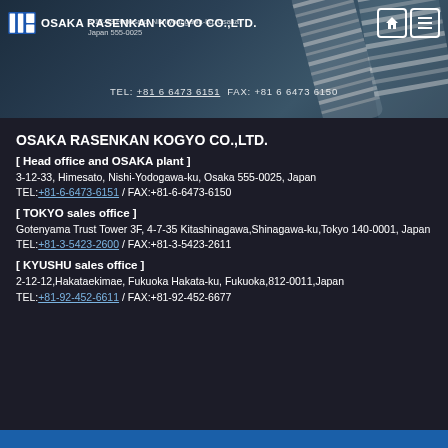[Figure (screenshot): Website header banner with dark blue/teal background and spring/bolt photo on right side]
OSAKA RASENKAN KOGYO CO.,LTD.
3-12-33 Himesato, Nishiyodogawa-ku, Osaka Japan 555-0025
TEL: +81 6 6473 6151 FAX: +81 6 6473 6150
OSAKA RASENKAN KOGYO CO.,LTD.
[ Head office and OSAKA plant ]
3-12-33, Himesato, Nishi-Yodogawa-ku, Osaka 555-0025, Japan
TEL:+81-6-6473-6151 / FAX:+81-6-6473-6150
[ TOKYO sales office ]
Gotenyama Trust Tower 3F, 4-7-35 Kitashinagawa,Shinagawa-ku,Tokyo 140-0001, Japan
TEL:+81-3-5423-2600 / FAX:+81-3-5423-2611
[ KYUSHU sales office ]
2-12-12,Hakataekimae, Fukuoka Hakata-ku, Fukuoka,812-0011,Japan
TEL:+81-92-452-6611 / FAX:+81-92-452-6677